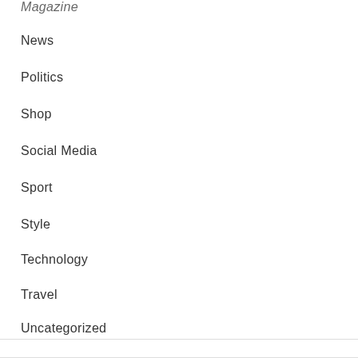Magazine
News
Politics
Shop
Social Media
Sport
Style
Technology
Travel
Uncategorized